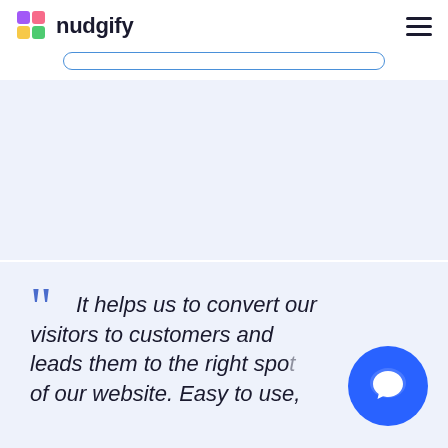nudgify
[Figure (screenshot): Partial button outline (rounded rectangle) visible at top center]
[Figure (screenshot): Light blue background section (empty space)]
It helps us to convert our visitors to customers and leads them to the right spot of our website. Easy to use,
[Figure (infographic): Notification popup showing: It's Popular badge, '31 people signed up to a plan in the last 7 days', Verified by Nudgify. Blue chat bubble icon overlapping popup on the right.]